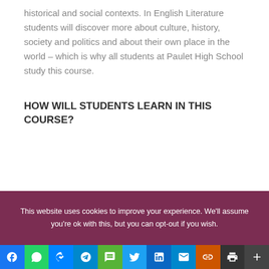historical and social contexts. In English Literature students will discover more about culture, history, society and politics and about their own place in the world – which is why all students at Paulet High School study this course.
HOW WILL STUDENTS LEARN IN THIS COURSE?
This website uses cookies to improve your experience. We'll assume you're ok with this, but you can opt-out if you wish.
[Figure (other): Social media sharing icons: Facebook, WhatsApp, Messenger, Telegram, SMS, Twitter, LinkedIn, Email, Copy link, Print, More]